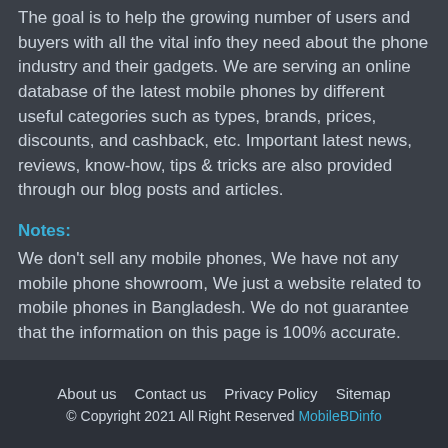The goal is to help the growing number of users and buyers with all the vital info they need about the phone industry and their gadgets. We are serving an online database of the latest mobile phones by different useful categories such as types, brands, prices, discounts, and cashback, etc. Important latest news, reviews, know-how, tips & tricks are also provided through our blog posts and articles.
Notes:
We don't sell any mobile phones, We have not any mobile phone showroom, We just a website related to mobile phones in Bangladesh. We do not guarantee that the information on this page is 100% accurate.
About us   Contact us   Privacy Policy   Sitemap
© Copyright 2021 All Right Reserved MobileBDinfo